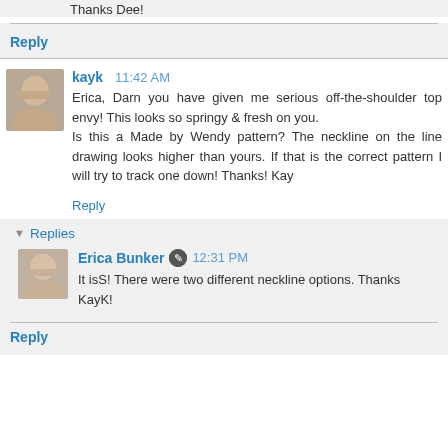Thanks Dee!
Reply
kayk  11:42 AM
Erica, Darn you have given me serious off-the-shoulder top envy! This looks so springy & fresh on you.
Is this a Made by Wendy pattern? The neckline on the line drawing looks higher than yours. If that is the correct pattern I will try to track one down! Thanks! Kay
Reply
Replies
Erica Bunker  12:31 PM
It isS! There were two different neckline options. Thanks KayK!
Reply